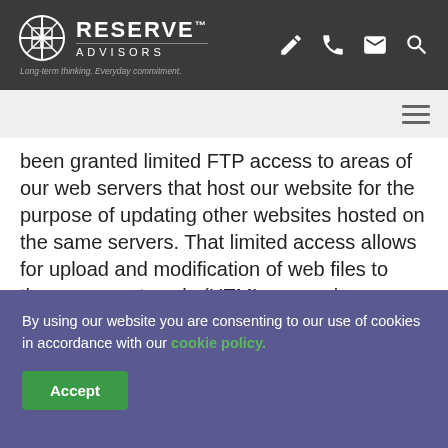RESERVE™ ADVISORS — Long-term thinking. Everyday commitment.
been granted limited FTP access to areas of our web servers that host our website for the purpose of updating other websites hosted on the same servers. That limited access allows for upload and modification of web files to those accounts only (HTML pages, images, and documents) but does not allow access to directories where executable files
By using our website you are consenting to our use of cookies in accordance with our cookie policy.
Accept